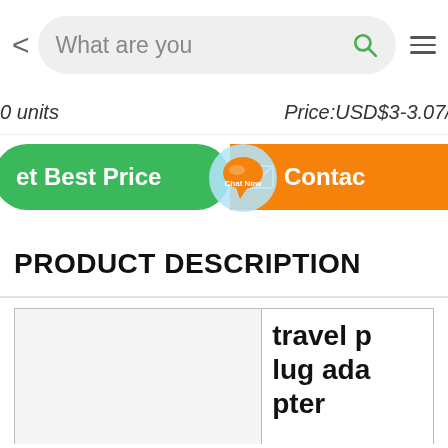< What are you [searching...] [search icon] [menu icon]
0 units   Price: USD$3-3.07/u...
Get Best Price   [chat now overlay]   Contact
PRODUCT DESCRIPTION
| [image] | travel plug adapter |